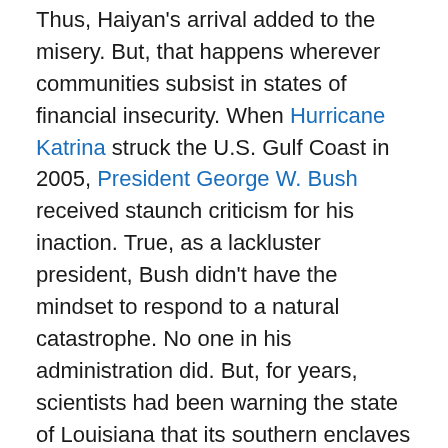Thus, Haiyan's arrival added to the misery.  But, that happens wherever communities subsist in states of financial insecurity.  When Hurricane Katrina struck the U.S. Gulf Coast in 2005, President George W. Bush received staunch criticism for his inaction.  True, as a lackluster president, Bush didn't have the mindset to respond to a natural catastrophe.  No one in his administration did.  But, for years, scientists had been warning the state of Louisiana that its southern enclaves were vulnerable to devastation, notably low-lying New Orleans.  But, the Crescent City itself was already in a state of decay.  Most of its citizenry relied upon government assistance and menial cash jobs just to survive.  The people were ill-equipped to help themselves get out of harm's way; e.g. rent a car or buy a plane ticket.  The endemic corruption in both the city of New Orleans and the state of Louisiana set everyone up for disaster.